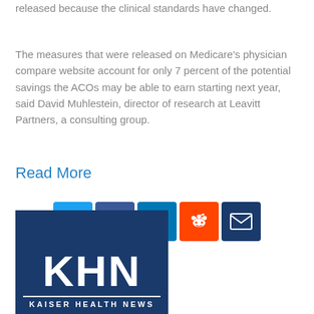released because the clinical standards have changed.
The measures that were released on Medicare's physician compare website account for only 7 percent of the potential savings the ACOs may be able to earn starting next year, said David Muhlestein, director of research at Leavitt Partners, a consulting group.
Read More
[Figure (infographic): Social sharing icons: Twitter (blue), Facebook (blue), LinkedIn (teal/blue), Reddit (orange), Email (dark blue)]
[Figure (logo): KHN - Kaiser Health News logo on dark navy blue background]